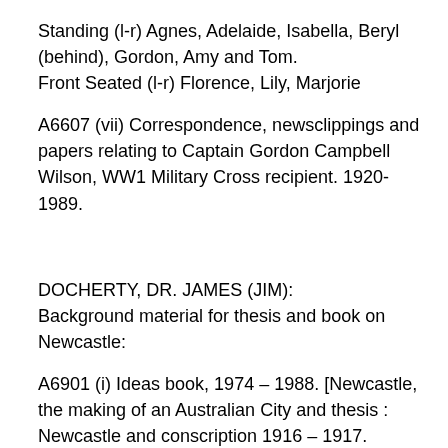Standing (l-r) Agnes, Adelaide, Isabella, Beryl (behind), Gordon, Amy and Tom.
Front Seated (l-r) Florence, Lily, Marjorie
A6607 (vii) Correspondence, newsclippings and papers relating to Captain Gordon Campbell Wilson, WW1 Military Cross recipient. 1920-1989.
DOCHERTY, DR. JAMES (JIM):
Background material for thesis and book on Newcastle:
A6901 (i) Ideas book, 1974 – 1988. [Newcastle, the making of an Australian City and thesis : Newcastle and conscription 1916 – 1917.
A6901 (iii) A bibliographical essay on a proposed social